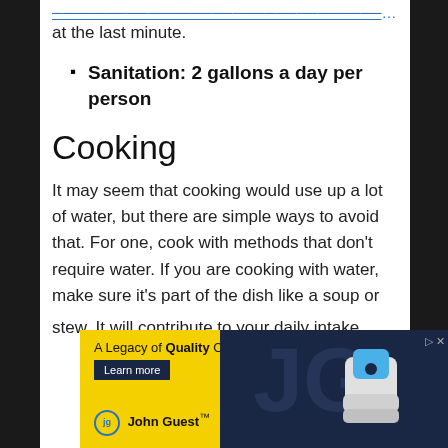at the last minute.
Sanitation: 2 gallons a day per person
Cooking
It may seem that cooking would use up a lot of water, but there are simple ways to avoid that. For one, cook with methods that don’t require water. If you are cooking with water, make sure it’s part of the dish like a soup or
[Figure (other): Advertisement banner for John Guest - A Legacy of Quality Connections]